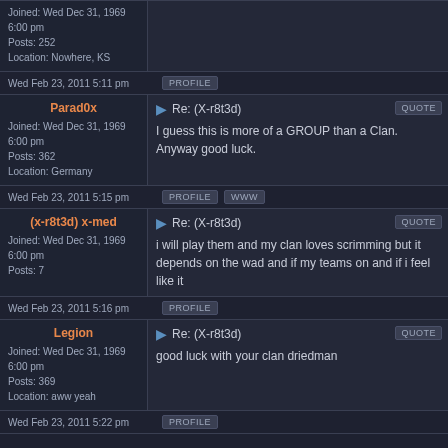Joined: Wed Dec 31, 1969 6:00 pm
Posts: 252
Location: Nowhere, KS
Wed Feb 23, 2011 5:11 pm | PROFILE
Parad0x
Re: (X-r8t3d)
I guess this is more of a GROUP than a Clan. Anyway good luck.
Joined: Wed Dec 31, 1969 6:00 pm
Posts: 362
Location: Germany
Wed Feb 23, 2011 5:15 pm | PROFILE | WWW
(x-r8t3d) x-med
Re: (X-r8t3d)
i will play them and my clan loves scrimming but it depends on the wad and if my teams on and if i feel like it
Joined: Wed Dec 31, 1969 6:00 pm
Posts: 7
Wed Feb 23, 2011 5:16 pm | PROFILE
Legion
Re: (X-r8t3d)
good luck with your clan driedman
Joined: Wed Dec 31, 1969 6:00 pm
Posts: 369
Location: aww yeah
Wed Feb 23, 2011 5:22 pm | PROFILE